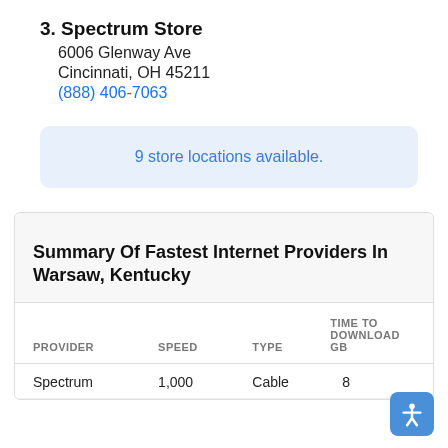3. Spectrum Store
6006 Glenway Ave
Cincinnati, OH 45211
(888) 406-7063
9 store locations available.
Summary Of Fastest Internet Providers In Warsaw, Kentucky
| PROVIDER | SPEED | TYPE | TIME TO DOWNLOAD GB |
| --- | --- | --- | --- |
| Spectrum | 1,000 | Cable | 8 |